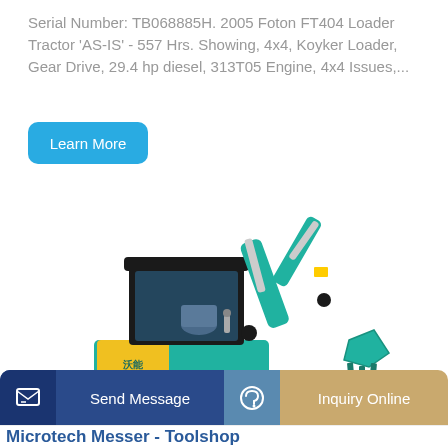Serial Number: TB068885H. 2005 Foton FT404 Loader Tractor 'AS-IS' - 557 Hrs. Showing, 4x4, Koyker Loader, Gear Drive, 29.4 hp diesel, 313T05 Engine, 4x4 Issues,...
[Figure (other): Blue 'Learn More' button with rounded corners]
[Figure (photo): Mini excavator with teal/blue body, yellow lower front panel, black cab canopy, rubber tracks, and an extended hydraulic arm with bucket attachment]
[Figure (other): Bottom action bar with two sections: 'Send Message' on blue background with message icon, and 'Inquiry Online' on tan/gold background with headset icon]
Microtech Messer - Toolshop